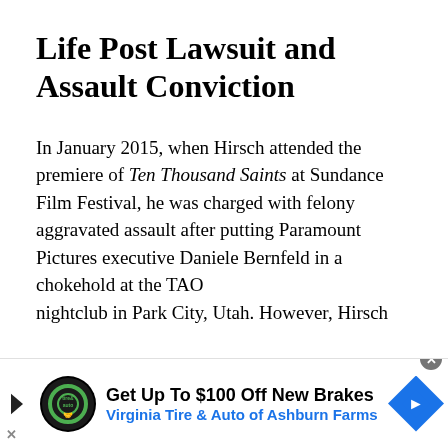Life Post Lawsuit and Assault Conviction
In January 2015, when Hirsch attended the premiere of Ten Thousand Saints at Sundance Film Festival, he was charged with felony aggravated assault after putting Paramount Pictures executive Daniele Bernfeld in a chokehold at the TAO nightclub in Park City, Utah. However, Hirsch
[Figure (other): Advertisement banner: Virginia Tire & Auto of Ashburn Farms - Get Up To $100 Off New Brakes]